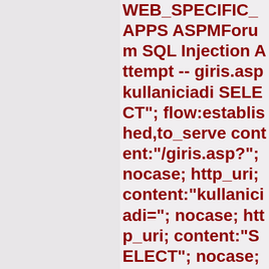WEB_SPECIFIC_APPS ASPMForum SQL Injection Attempt -- giris.asp kullaniciadi SELECT"; flow:established,to_server; content:"/giris.asp?"; nocase; http_uri; content:"kullaniciadi="; nocase; http_uri; content:"SELECT"; nocase; http_uri; pcre:"/SELECT.+FROM/U; reference:cve,CVE-2006-6270; reference:url,www.securit reference:url,doc.emergin classtype:web-application-attack; sid:2006837; rev:7; metadata:affected_produc Web_Server_Applications attack_target Web_Server